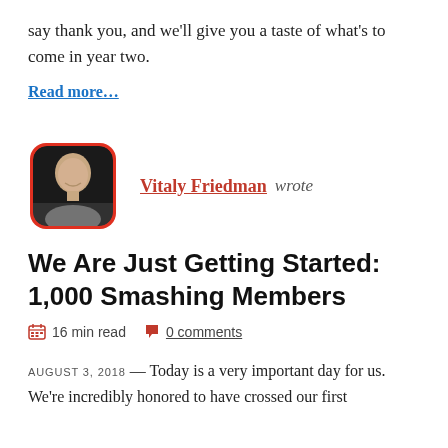say thank you, and we'll give you a taste of what's to come in year two.
Read more…
[Figure (photo): Circular profile photo of Vitaly Friedman with red rounded square frame border, showing a bald man smiling against a dark background]
Vitaly Friedman wrote
We Are Just Getting Started: 1,000 Smashing Members
16 min read   0 comments
AUGUST 3, 2018 — Today is a very important day for us. We're incredibly honored to have crossed our first